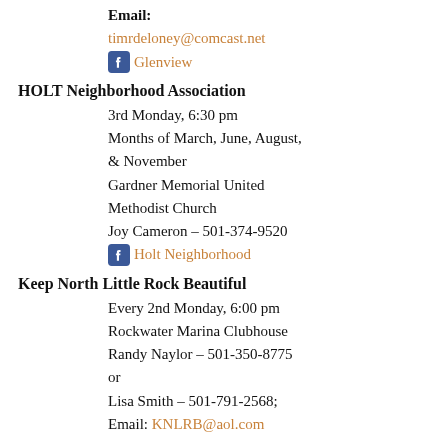Email:
timrdeloney@comcast.net
Glenview (Facebook link)
HOLT Neighborhood Association
3rd Monday, 6:30 pm
Months of March, June, August, & November
Gardner Memorial United Methodist Church
Joy Cameron – 501-374-9520
Holt Neighborhood (Facebook link)
Keep North Little Rock Beautiful
Every 2nd Monday, 6:00 pm
Rockwater Marina Clubhouse
Randy Naylor – 501-350-8775
or
Lisa Smith – 501-791-2568;
Email: KNLRB@aol.com